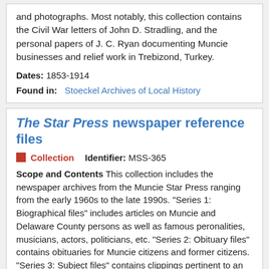and photographs. Most notably, this collection contains the Civil War letters of John D. Stradling, and the personal papers of J. C. Ryan documenting Muncie businesses and relief work in Trebizond, Turkey.
Dates: 1853-1914
Found in: Stoeckel Archives of Local History
The Star Press newspaper reference files
Collection   Identifier: MSS-365
Scope and Contents This collection includes the newspaper archives from the Muncie Star Press ranging from the early 1960s to the late 1990s. "Series 1: Biographical files" includes articles on Muncie and Delaware County persons as well as famous peronalities, musicians, actors, politicians, etc. "Series 2: Obituary files" contains obituaries for Muncie citizens and former citizens. "Series 3: Subject files" contains clippings pertinent to an array